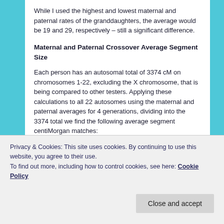While I used the highest and lowest maternal and paternal rates of the granddaughters, the average would be 19 and 29, respectively – still a significant difference.
Maternal and Paternal Crossover Average Segment Size
Each person has an autosomal total of 3374 cM on chromosomes 1-22, excluding the X chromosome, that is being compared to other testers. Applying these calculations to all 22 autosomes using the maternal and paternal averages for 4 generations, dividing into the 3374 total we find the following average segment centiMorgan matches:
Privacy & Cookies: This site uses cookies. By continuing to use this website, you agree to their use.
To find out more, including how to control cookies, see here: Cookie Policy